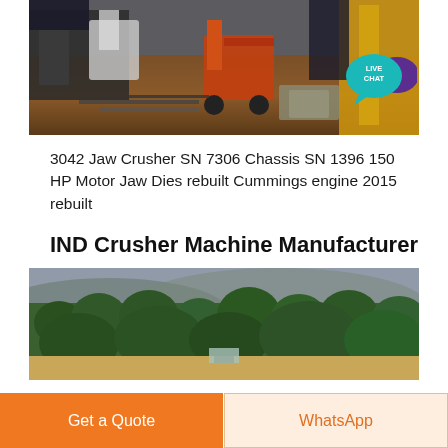[Figure (photo): Industrial yard scene with a forklift (orange/red), metal pipes and materials scattered on muddy ground, with industrial equipment and structures in background]
3042 Jaw Crusher SN 7306 Chassis SN 1396 150 HP Motor Jaw Dies rebuilt Cummings engine 2015 rebuilt
IND Crusher Machine Manufacturer
[Figure (photo): Aerial or elevated view of lush green forested hillside with misty mountains in background, and a construction or industrial clearing visible at bottom]
Get a Quote
WhatsApp